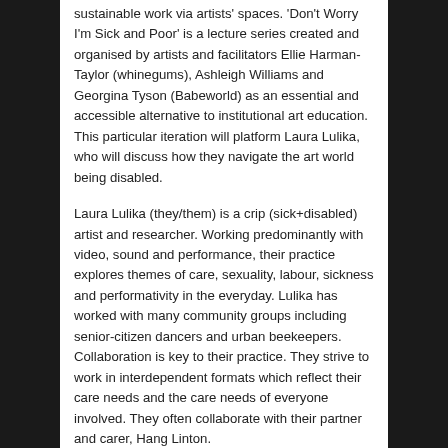sustainable work via artists' spaces. 'Don't Worry I'm Sick and Poor' is a lecture series created and organised by artists and facilitators Ellie Harman-Taylor (whinegums), Ashleigh Williams and Georgina Tyson (Babeworld) as an essential and accessible alternative to institutional art education. This particular iteration will platform Laura Lulika, who will discuss how they navigate the art world being disabled.
Laura Lulika (they/them) is a crip (sick+disabled) artist and researcher. Working predominantly with video, sound and performance, their practice explores themes of care, sexuality, labour, sickness and performativity in the everyday. Lulika has worked with many community groups including senior-citizen dancers and urban beekeepers. Collaboration is key to their practice. They strive to work in interdependent formats which reflect their care needs and the care needs of everyone involved. They often collaborate with their partner and carer, Hang Linton.